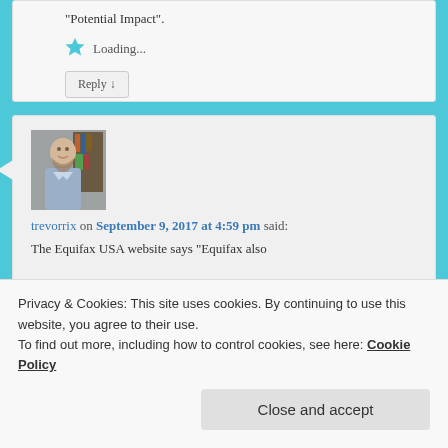“Potential Impact”.
Loading...
Reply ↓
[Figure (photo): Profile photo of trevorrix, a man with a beard wearing a light blue shirt]
trevorrix on September 9, 2017 at 4:59 pm said:
The Equifax USA website says “Equifax also
Privacy & Cookies: This site uses cookies. By continuing to use this website, you agree to their use.
To find out more, including how to control cookies, see here: Cookie Policy
Close and accept